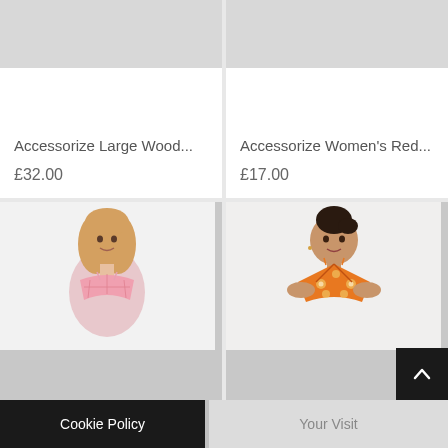[Figure (photo): Gray placeholder image area for product 1 (top-left card)]
Accessorize Large Wood...
£32.00
[Figure (photo): Gray placeholder image area for product 2 (top-right card)]
Accessorize Women's Red...
£17.00
[Figure (photo): Photo of blonde woman wearing pink gingham bikini top (bottom-left card)]
[Figure (photo): Photo of woman wearing orange floral bikini top (bottom-right card)]
Cookie Policy
Your Visit